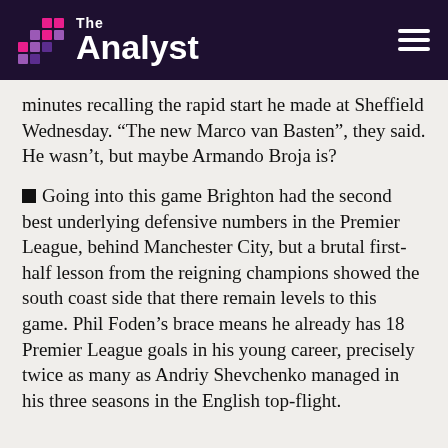The Analyst
minutes recalling the rapid start he made at Sheffield Wednesday. “The new Marco van Basten”, they said. He wasn’t, but maybe Armando Broja is?
■ Going into this game Brighton had the second best underlying defensive numbers in the Premier League, behind Manchester City, but a brutal first-half lesson from the reigning champions showed the south coast side that there remain levels to this game. Phil Foden’s brace means he already has 18 Premier League goals in his young career, precisely twice as many as Andriy Shevchenko managed in his three seasons in the English top-flight.